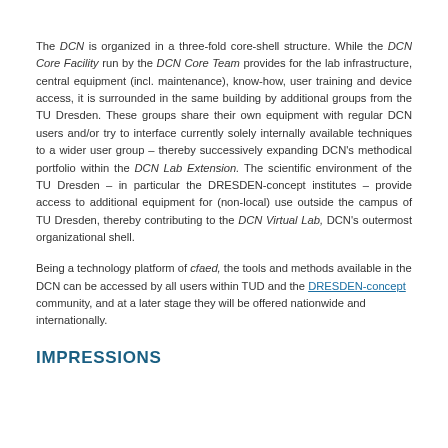The DCN is organized in a three-fold core-shell structure. While the DCN Core Facility run by the DCN Core Team provides for the lab infrastructure, central equipment (incl. maintenance), know-how, user training and device access, it is surrounded in the same building by additional groups from the TU Dresden. These groups share their own equipment with regular DCN users and/or try to interface currently solely internally available techniques to a wider user group – thereby successively expanding DCN's methodical portfolio within the DCN Lab Extension. The scientific environment of the TU Dresden – in particular the DRESDEN-concept institutes – provide access to additional equipment for (non-local) use outside the campus of TU Dresden, thereby contributing to the DCN Virtual Lab, DCN's outermost organizational shell.
Being a technology platform of cfaed, the tools and methods available in the DCN can be accessed by all users within TUD and the DRESDEN-concept community, and at a later stage they will be offered nationwide and internationally.
IMPRESSIONS